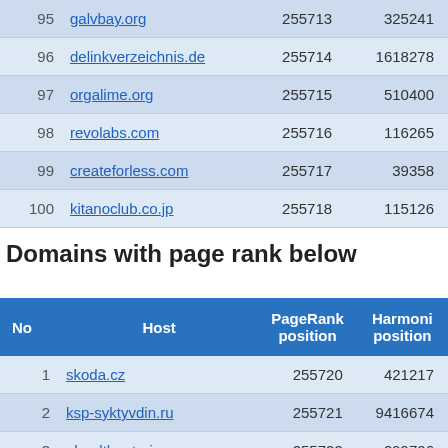| No | Host | PageRank position | Harmonic position |
| --- | --- | --- | --- |
| 95 | galvbay.org | 255713 | 325241+ |
| 96 | delinkverzeichnis.de | 255714 | 1618278+ |
| 97 | orgalime.org | 255715 | 510400+ |
| 98 | revolabs.com | 255716 | 116265+ |
| 99 | createforless.com | 255717 | 39358+ |
| 100 | kitanoclub.co.jp | 255718 | 115126+ |
Domains with page rank below
| No | Host | PageRank position | Harmonic position |
| --- | --- | --- | --- |
| 1 | skoda.cz | 255720 | 421217+ |
| 2 | ksp-syktyvdin.ru | 255721 | 9416674+ |
| 3 | ehealthontario.on.ca | 255722 | 299706+ |
| 4 | bankofshanghai.com.cn | 255723 | 1194447+ |
| 5 | tryhaskell.org | 255724 | 376674+ |